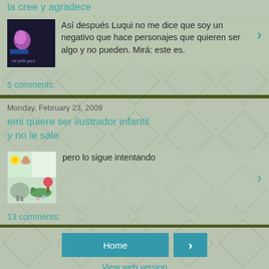la cree y agradece
Así después Luqui no me dice que soy un negativo que hace personajes que quieren ser algo y no pueden. Mirá: este es.
5 comments:
Monday, February 23, 2009
emi quiere ser ilustrador infantil y no le sale
pero lo sigue intentando
13 comments:
Home
View web version